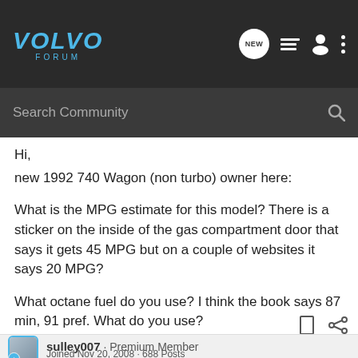VOLVO FORUM
Hi,
new 1992 740 Wagon (non turbo) owner here:

What is the MPG estimate for this model? There is a sticker on the inside of the gas compartment door that says it gets 45 MPG but on a couple of websites it says 20 MPG?

What octane fuel do you use? I think the book says 87 min, 91 pref. What do you use?
sulley007 · Premium Member
Joined Nov 20, 2008 · 688 Posts